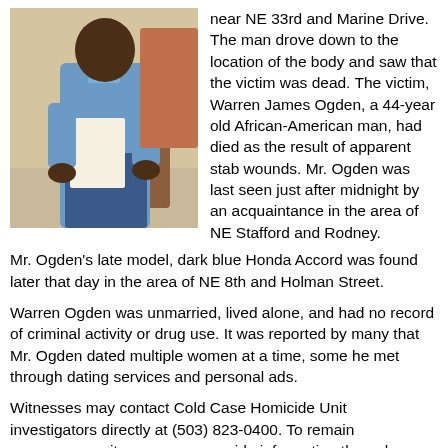[Figure (photo): Photograph of Warren James Ogden, a man holding a piece of paper, wearing a light blue short-sleeved shirt, outdoors.]
near NE 33rd and Marine Drive. The man drove down to the location of the body and saw that the victim was dead. The victim, Warren James Ogden, a 44-year old African-American man, had died as the result of apparent stab wounds. Mr. Ogden was last seen just after midnight by an acquaintance in the area of NE Stafford and Rodney.
Mr. Ogden's late model, dark blue Honda Accord was found later that day in the area of NE 8th and Holman Street.
Warren Ogden was unmarried, lived alone, and had no record of criminal activity or drug use. It was reported by many that Mr. Ogden dated multiple women at a time, some he met through dating services and personal ads.
Witnesses may contact Cold Case Homicide Unit investigators directly at (503) 823-0400. To remain anonymous, witnesses may provide information through Crime Stoppers of Oregon.
Crime Stoppers of Oregon offers cash rewards for information,